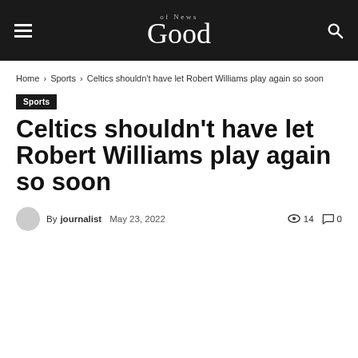Good of News
Home › Sports › Celtics shouldn't have let Robert Williams play again so soon
Sports
Celtics shouldn't have let Robert Williams play again so soon
By journalist  May 23, 2022  14  0